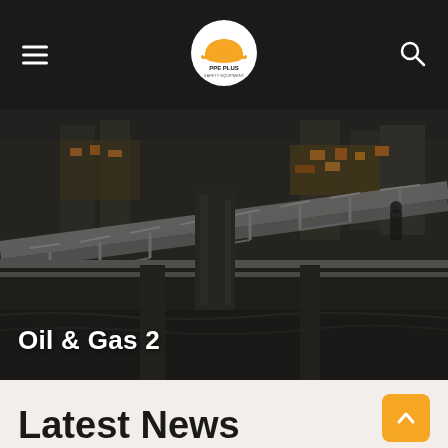PPE PLUS navigation bar with hamburger menu, logo, and search icon
[Figure (photo): Aerial/side view of an offshore oil and gas platform or industrial facility with metal gantry, pipework, scaffolding, and structures illuminated with orange/yellow lights at dusk or night]
Oil & Gas 2
Latest News